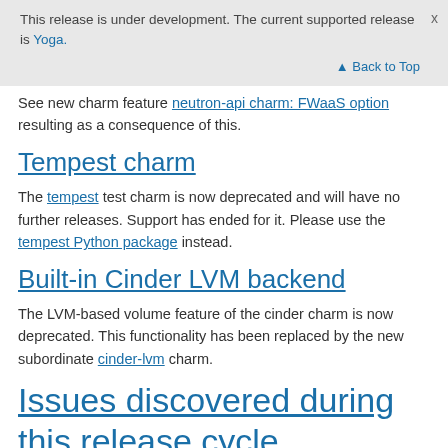This release is under development. The current supported release is Yoga.
See new charm feature neutron-api charm: FWaaS option resulting as a consequence of this.
Tempest charm
The tempest test charm is now deprecated and will have no further releases. Support has ended for it. Please use the tempest Python package instead.
Built-in Cinder LVM backend
The LVM-based volume feature of the cinder charm is now deprecated. This functionality has been replaced by the new subordinate cinder-lvm charm.
Issues discovered during this release cycle